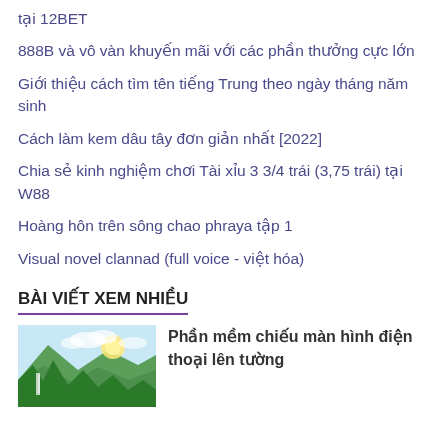tại 12BET
888B và vô vàn khuyến mãi với các phần thưởng cực lớn
Giới thiệu cách tìm tên tiếng Trung theo ngày tháng năm sinh
Cách làm kem dâu tây đơn giản nhất [2022]
Chia sẻ kinh nghiệm chơi Tài xỉu 3 3/4 trái (3,75 trái) tại W88
Hoàng hôn trên sông chao phraya tập 1
Visual novel clannad (full voice - việt hóa)
BÀI VIẾT XEM NHIỀU
[Figure (photo): Nature photo showing waterfall and green forest landscape with blue sky]
Phần mềm chiếu màn hình điện thoại lên tường